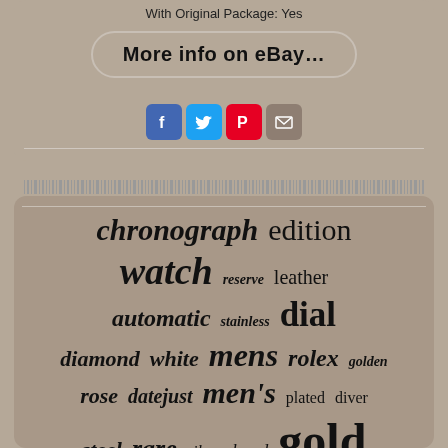With Original Package: Yes
More info on eBay...
[Figure (infographic): Social sharing icons: Facebook (blue), Twitter (blue), Pinterest (red), Email (grey)]
[Figure (infographic): Barcode strip decorative element]
[Figure (infographic): Word cloud with watch-related terms: chronograph, edition, watch, reserve, leather, automatic, stainless, dial, diamond, white, mens, rolex, golden, rose, datejust, men's, plated, diver, steel, rare, silver, band, gold, limited]